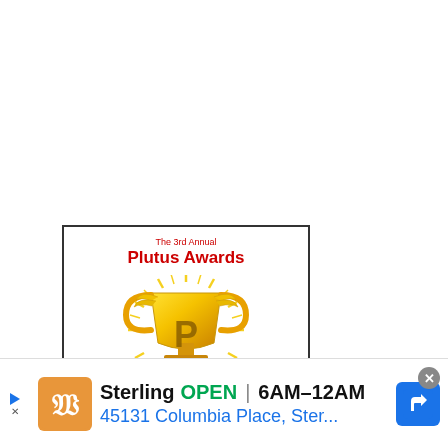[Figure (logo): The 3rd Annual Plutus Awards Winner badge — a gold trophy cup with a 'P' letter on it, surrounded by sunburst rays, with a red ribbon banner at the bottom reading 'Winner', all inside a black-bordered white box.]
[Figure (infographic): Advertisement banner for Wegmans Sterling store. Shows orange Wegmans logo, store name 'Sterling', status 'OPEN', hours '6AM-12AM', address '45131 Columbia Place, Ster...', and a blue navigation arrow icon.]